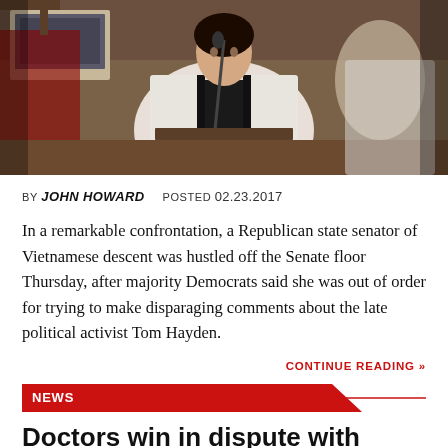[Figure (photo): A woman speaking at a microphone at a legislative podium, wearing a white blazer with black trim. Another person with a laptop visible in the background. Interior of a government building.]
BY JOHN HOWARD   POSTED 02.23.2017
In a remarkable confrontation, a Republican state senator of Vietnamese descent was hustled off the Senate floor Thursday, after majority Democrats said she was out of order for trying to make disparaging comments about the late political activist Tom Hayden.
CONTINUE READING »
NEWS
Doctors win in dispute with nurses